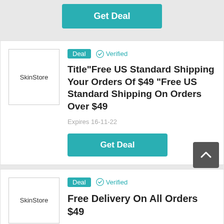[Figure (screenshot): Get Deal button at top of page (partial card)]
Deal  Verified
Title"Free US Standard Shipping Your Orders Of $49 "Free US Standard Shipping On Orders Over $49
Expires 16-11-22
Get Deal
Deal  Verified
Free Delivery On All Orders $49